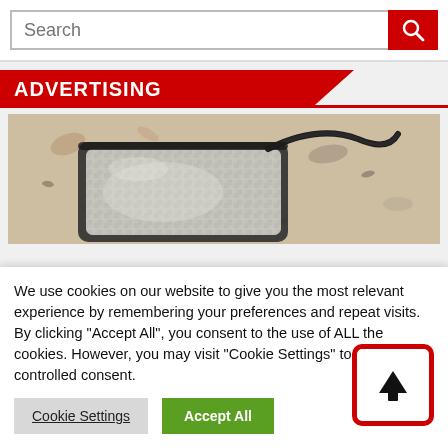[Figure (screenshot): Search bar with red search button containing a magnifying glass icon]
ADVERTISING
[Figure (photo): Close-up photo of a metallic insulated pouch/bag with a black cable on a granite surface]
We use cookies on our website to give you the most relevant experience by remembering your preferences and repeat visits. By clicking "Accept All", you consent to the use of ALL the cookies. However, you may visit "Cookie Settings" to provide a controlled consent.
[Figure (other): Cookie Settings and Accept All buttons]
[Figure (other): Scroll-to-top button with upward arrow, red border]